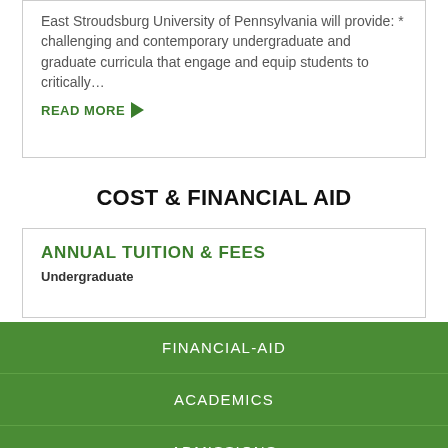East Stroudsburg University of Pennsylvania will provide: * challenging and contemporary undergraduate and graduate curricula that engage and equip students to critically...
READ MORE
COST & FINANCIAL AID
ANNUAL TUITION & FEES
Undergraduate
FINANCIAL-AID
ACADEMICS
ADMISSIONS
STUDENT LIFE